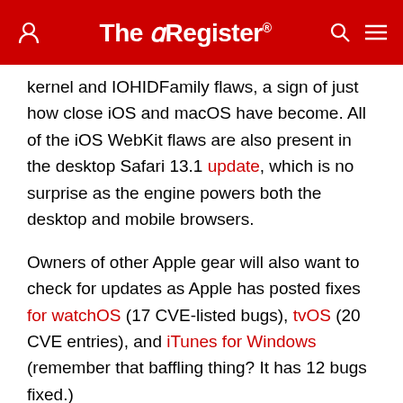The Register
kernel and IOHIDFamily flaws, a sign of just how close iOS and macOS have become. All of the iOS WebKit flaws are also present in the desktop Safari 13.1 update, which is no surprise as the engine powers both the desktop and mobile browsers.
Owners of other Apple gear will also want to check for updates as Apple has posted fixes for watchOS (17 CVE-listed bugs), tvOS (20 CVE entries), and iTunes for Windows (remember that baffling thing? It has 12 bugs fixed.)
[Figure (logo): outsystems logo on black background — red circle with dark inner dot and white text 'outsystems']